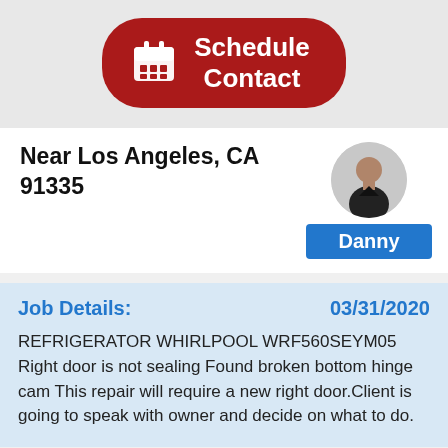[Figure (screenshot): Red rounded button with calendar icon and text 'Schedule Contact']
Near Los Angeles, CA 91335
[Figure (photo): Circular profile photo of a man named Danny]
Danny
Job Details:
03/31/2020
REFRIGERATOR WHIRLPOOL WRF560SEYM05 Right door is not sealing Found broken bottom hinge cam This repair will require a new right door.Client is going to speak with owner and decide on what to do.